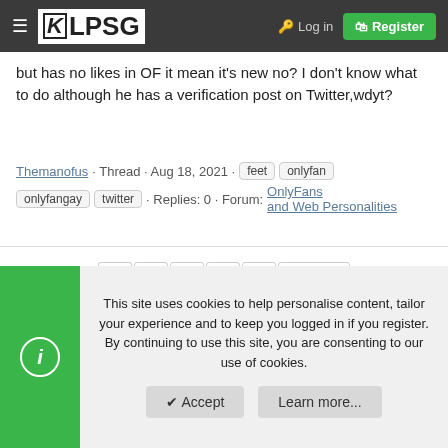LPSG — Log in | Register
but has no likes in OF it mean it's new no? I don't know what to do although he has a verification post on Twitter,wdyt?
Themanofus · Thread · Aug 18, 2021 · feet onlyfan onlyfangay twitter · Replies: 0 · Forum: OnlyFans and Web Personalities
1 2 3 4 5 Next ▶
❮ Tags
This site uses cookies to help personalise content, tailor your experience and to keep you logged in if you register. By continuing to use this site, you are consenting to our use of cookies.
✔ Accept   Learn more...